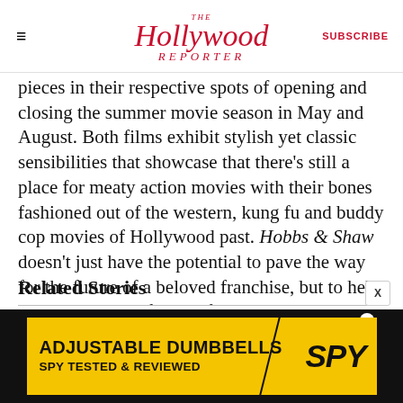The Hollywood Reporter | SUBSCRIBE
pieces in their respective spots of opening and closing the summer movie season in May and August. Both films exhibit stylish yet classic sensibilities that showcase that there’s still a place for meaty action movies with their bones fashioned out of the western, kung fu and buddy cop movies of Hollywood past. Hobbs & Shaw doesn’t just have the potential to pave the way for the future of a beloved franchise, but to help reclaim a place of honor for an important action heroes without superpowers. THR
Related Stories
[Figure (other): Advertisement banner for Adjustable Dumbbells by SPY - yellow background with black text reading ADJUSTABLE DUMBBELLS SPY TESTED & REVIEWED]